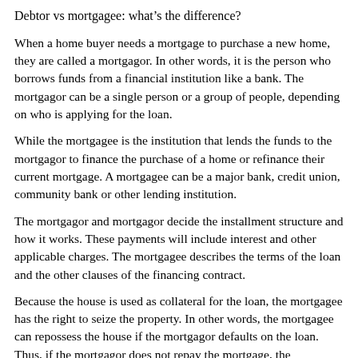Debtor vs mortgagee: what's the difference?
When a home buyer needs a mortgage to purchase a new home, they are called a mortgagor. In other words, it is the person who borrows funds from a financial institution like a bank. The mortgagor can be a single person or a group of people, depending on who is applying for the loan.
While the mortgagee is the institution that lends the funds to the mortgagor to finance the purchase of a home or refinance their current mortgage. A mortgagee can be a major bank, credit union, community bank or other lending institution.
The mortgagor and mortgagor decide the installment structure and how it works. These payments will include interest and other applicable charges. The mortgagee describes the terms of the loan and the other clauses of the financing contract.
Because the house is used as collateral for the loan, the mortgagee has the right to seize the property. In other words, the mortgagee can repossess the house if the mortgagor defaults on the loan. Thus, if the mortgagor does not repay the mortgage, the mortgagee can withdraw the house from him and sell it.
Mortgage debtor vs. mortgagee: main differences Mortgage debtor Mortgage creditor The party who buys the house The institution